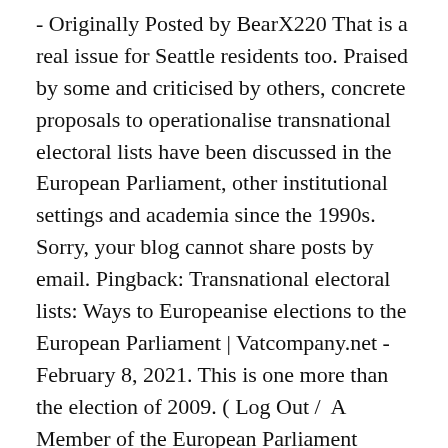- Originally Posted by BearX220 That is a real issue for Seattle residents too. Praised by some and criticised by others, concrete proposals to operationalise transnational electoral lists have been discussed in the European Parliament, other institutional settings and academia since the 1990s. Sorry, your blog cannot share posts by email. Pingback: Transnational electoral lists: Ways to Europeanise elections to the European Parliament | Vatcompany.net - February 8, 2021. This is one more than the election of 2009. ( Log Out /  A Member of the European Parliament (MEP) is a person who has been elected to serve as a popular representative in the European Parliament.. With the entry into force of the Lisbon Treaty in 2009, the Parliament assumed further legislative powers. With the active involvement of political parties from European Congress Party and...